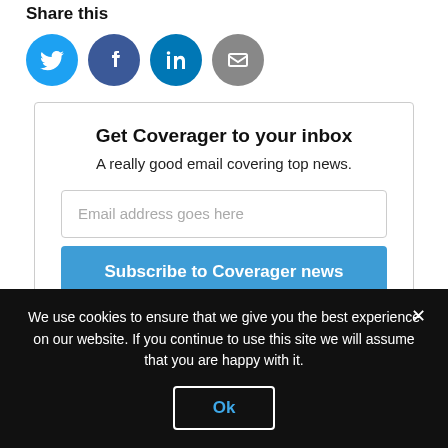Share this
[Figure (illustration): Four social media share icons in circles: Twitter (light blue), Facebook (dark blue), LinkedIn (teal blue), Email (gray)]
Get Coverager to your inbox
A really good email covering top news.
Email address goes here
Subscribe to Coverager news
We use cookies to ensure that we give you the best experience on our website. If you continue to use this site we will assume that you are happy with it.
Ok